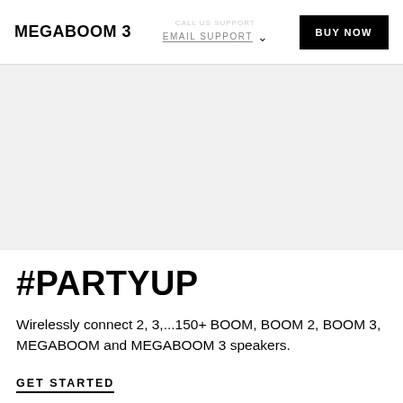MEGABOOM 3
EMAIL SUPPORT
[Figure (photo): Light gray hero image area for MEGABOOM 3 product]
#PARTYUP
Wirelessly connect 2, 3,...150+ BOOM, BOOM 2, BOOM 3, MEGABOOM and MEGABOOM 3 speakers.
GET STARTED